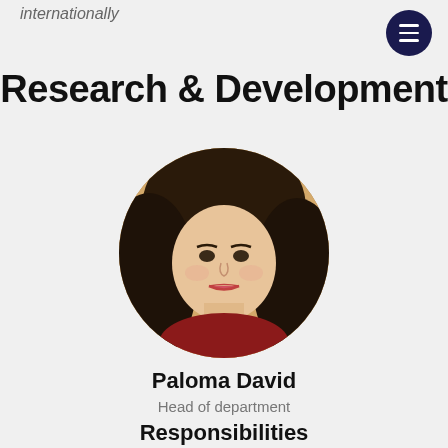internationally
Research & Development
[Figure (photo): Circular portrait photo of Paloma David, a young woman with long curly dark hair, wearing a red top, photographed indoors.]
Paloma David
Head of department
Responsibilities